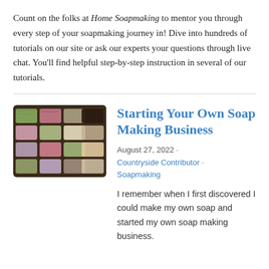Count on the folks at Home Soapmaking to mentor you through every step of your soapmaking journey in! Dive into hundreds of tutorials on our site or ask our experts your questions through live chat. You'll find helpful step-by-step instruction in several of our tutorials.
[Figure (photo): Photo of colorful handmade soap bars arranged on a tray, featuring shades of pink, green, white, and dark brown/black, in a rustic wooden setting.]
Starting Your Own Soap Making Business
August 27, 2022 · Countryside Contributor · Soapmaking
I remember when I first discovered I could make my own soap and started my own soap making business.